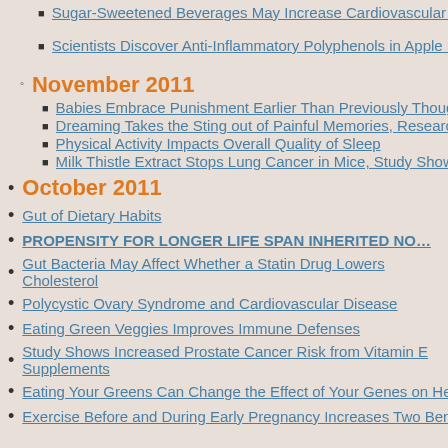Sugar-Sweetened Beverages May Increase Cardiovascular Ris…
Scientists Discover Anti-Inflammatory Polyphenols in Apple…
November 2011
Babies Embrace Punishment Earlier Than Previously Thought…
Dreaming Takes the Sting out of Painful Memories, Research…
Physical Activity Impacts Overall Quality of Sleep
Milk Thistle Extract Stops Lung Cancer in Mice, Study Shows…
October 2011
Gut of Dietary Habits
PROPENSITY FOR LONGER LIFE SPAN INHERITED NO…
Gut Bacteria May Affect Whether a Statin Drug Lowers Cholesterol
Polycystic Ovary Syndrome and Cardiovascular Disease
Eating Green Veggies Improves Immune Defenses
Study Shows Increased Prostate Cancer Risk from Vitamin E Supplements
Eating Your Greens Can Change the Effect of Your Genes on Heart Disease
Exercise Before and During Early Pregnancy Increases Two Beneficial Protei…